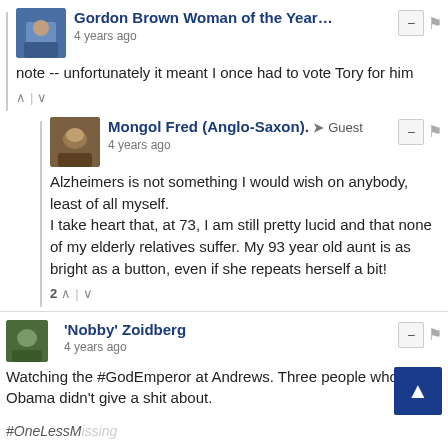[Figure (screenshot): User avatar for Gordon Brown Woman of the Year]
Gordon Brown Woman of the Year...
4 years ago
note -- unfortunately it meant I once had to vote Tory for him
[Figure (screenshot): User avatar for Mongol Fred]
Mongol Fred (Anglo-Saxon). → Guest
4 years ago
Alzheimers is not something I would wish on anybody, least of all myself.
I take heart that, at 73, I am still pretty lucid and that none of my elderly relatives suffer. My 93 year old aunt is as bright as a button, even if she repeats herself a bit!
[Figure (screenshot): User avatar for Nobby Zoidberg]
'Nobby' Zoidberg
4 years ago
Watching the #GodEmperor at Andrews. Three people who Obama didn't give a shit about.
#OneLessMissing